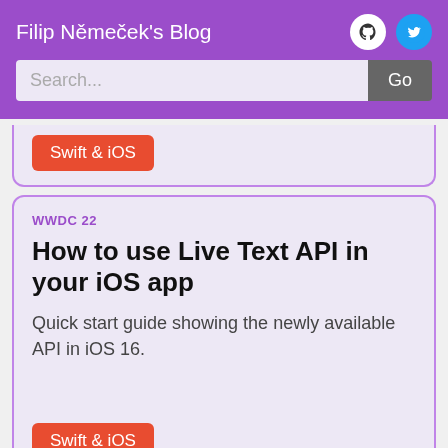Filip Němeček's Blog
Search...
Swift & iOS
WWDC 22
How to use Live Text API in your iOS app
Quick start guide showing the newly available API in iOS 16.
Swift & iOS
WWDC 22